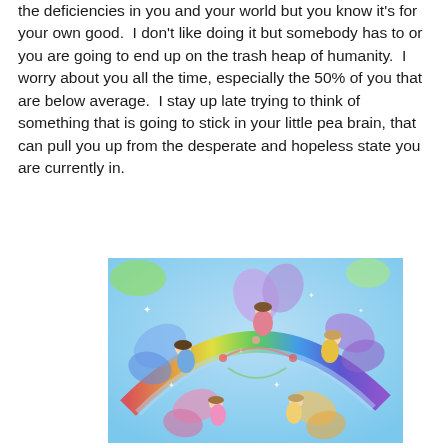the deficiencies in you and your world but you know it's for your own good.  I don't like doing it but somebody has to or you are going to end up on the trash heap of humanity.  I worry about you all the time, especially the 50% of you that are below average.  I stay up late trying to think of something that is going to stick in your little pea brain, that can pull you up from the desperate and hopeless state you are currently in.
[Figure (illustration): Colorful illustration of fairy figures with butterfly-like wings dancing in a circle around a rainbow on a blue sky background with sparkles and flowers.]